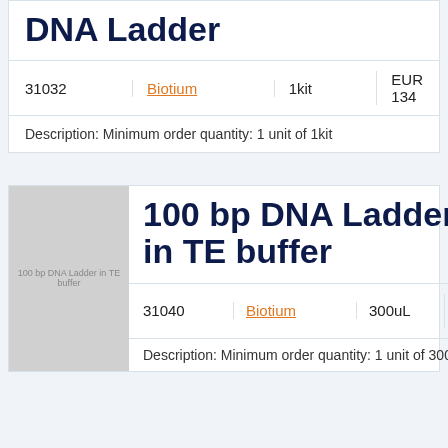DNA Ladder
| 31032 | Biotium | 1kit | EUR 134 |
| --- | --- | --- | --- |
Description: Minimum order quantity: 1 unit of 1kit
[Figure (photo): Thumbnail image of 100 bp DNA Ladder in TE buffer product]
100 bp DNA Ladder in TE buffer
| 31040 | Biotium | 300uL | EUR 141 |
| --- | --- | --- | --- |
Description: Minimum order quantity: 1 unit of 300uL